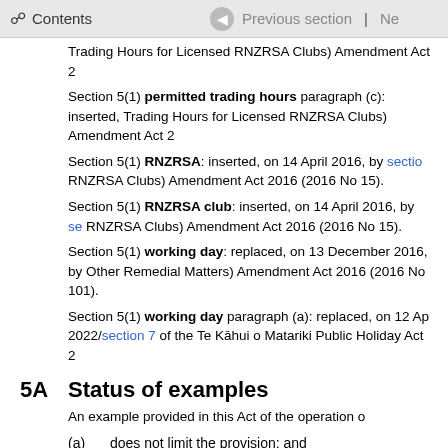Contents | Previous section | Ne
Trading Hours for Licensed RNZRSA Clubs) Amendment Act 2
Section 5(1) permitted trading hours paragraph (c): inserted, Trading Hours for Licensed RNZRSA Clubs) Amendment Act 2
Section 5(1) RNZRSA: inserted, on 14 April 2016, by section RNZRSA Clubs) Amendment Act 2016 (2016 No 15).
Section 5(1) RNZRSA club: inserted, on 14 April 2016, by section RNZRSA Clubs) Amendment Act 2016 (2016 No 15).
Section 5(1) working day: replaced, on 13 December 2016, by Other Remedial Matters) Amendment Act 2016 (2016 No 101).
Section 5(1) working day paragraph (a): replaced, on 12 April 2022/section 7 of the Te Kāhui o Matariki Public Holiday Act 2
5A Status of examples
An example provided in this Act of the operation o
(a)   does not limit the provision; and
(b)   may extend the operation of the provision.
Section 5A: inserted, on 1 September 2015, by section 7 of Amendment Act 2015 (2015 No 69).
6 Use of electronic records